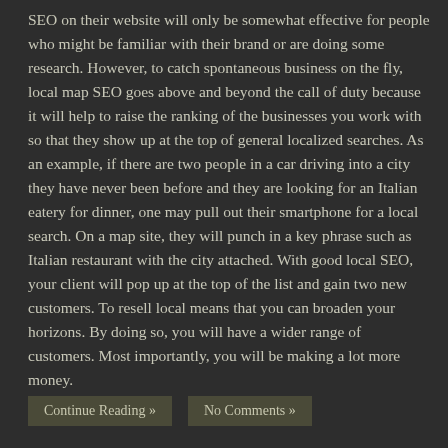SEO on their website will only be somewhat effective for people who might be familiar with their brand or are doing some research. However, to catch spontaneous business on the fly, local map SEO goes above and beyond the call of duty because it will help to raise the ranking of the businesses you work with so that they show up at the top of general localized searches. As an example, if there are two people in a car driving into a city they have never been before and they are looking for an Italian eatery for dinner, one may pull out their smartphone for a local search. On a map site, they will punch in a key phrase such as Italian restaurant with the city attached. With good local SEO, your client will pop up at the top of the list and gain two new customers. To resell local means that you can broaden your horizons. By doing so, you will have a wider range of customers. Most importantly, you will be making a lot more money.
Continue Reading »
No Comments »